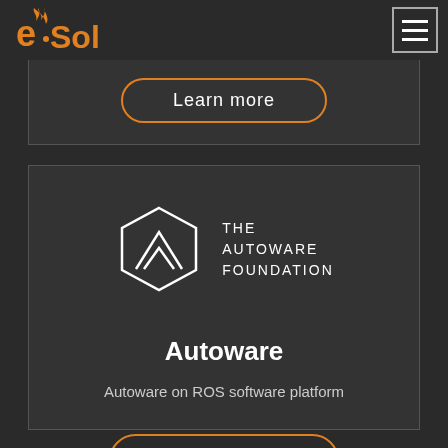[Figure (logo): eSol logo in orange and white on dark background]
[Figure (other): Hamburger menu button (three white horizontal lines in a bordered square)]
Learn more
[Figure (logo): The Autoware Foundation logo: hexagonal geometric shape with chevron, next to text THE AUTOWARE FOUNDATION]
Autoware
Autoware on ROS software platform
Learn more